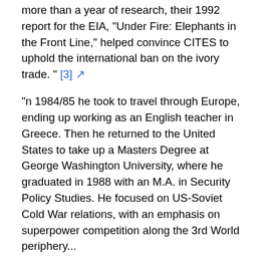more than a year of research, their 1992 report for the EIA, "Under Fire: Elephants in the Front Line," helped convince CITES to uphold the international ban on the ivory trade. " [3] ↗
"n 1984/85 he took to travel through Europe, ending up working as an English teacher in Greece. Then he returned to the United States to take up a Masters Degree at George Washington University, where he graduated in 1988 with an M.A. in Security Policy Studies. He focused on US-Soviet Cold War relations, with an emphasis on superpower competition along the 3rd World periphery...
"– 1986-1990: Led National Security Archive's Afghanistan Project. Through the declassification of security documents and his first-hand accounts inside war torn Afghanistan and Pakistan border areas, Galster observed the complex dynamics of a super power proxy war.[2] He